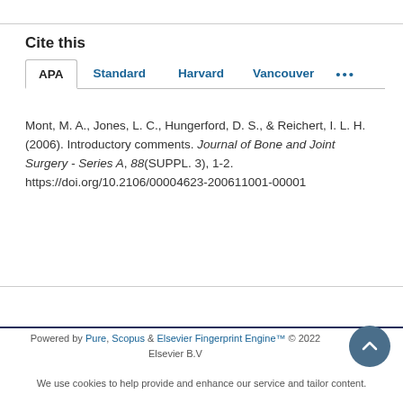Cite this
APA  Standard  Harvard  Vancouver  ...
Mont, M. A., Jones, L. C., Hungerford, D. S., & Reichert, I. L. H. (2006). Introductory comments. Journal of Bone and Joint Surgery - Series A, 88(SUPPL. 3), 1-2. https://doi.org/10.2106/00004623-200611001-00001
Powered by Pure, Scopus & Elsevier Fingerprint Engine™ © 2022 Elsevier B.V
We use cookies to help provide and enhance our service and tailor content.